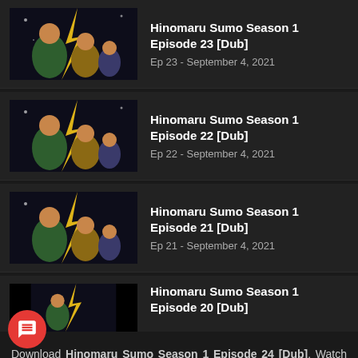Hinomaru Sumo Season 1 Episode 23 [Dub] - Ep 23 - September 4, 2021
Hinomaru Sumo Season 1 Episode 22 [Dub] - Ep 22 - September 4, 2021
Hinomaru Sumo Season 1 Episode 21 [Dub] - Ep 21 - September 4, 2021
Hinomaru Sumo Season 1 Episode 20 [Dub]
Download Hinomaru Sumo Season 1 Episode 24 [Dub], Watch Hinomaru Sumo Season 1 Episode 24 [Dub], don't forget to click on the like and share button. Anime Hinomaru Sumo Season 1 [Dub] always updated at AnimeMovieSpot. Don't forget to watch other anime tes.